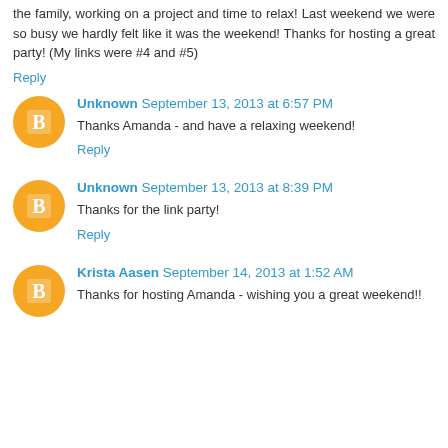the family, working on a project and time to relax! Last weekend we were so busy we hardly felt like it was the weekend! Thanks for hosting a great party! (My links were #4 and #5)
Reply
Unknown September 13, 2013 at 6:57 PM
Thanks Amanda - and have a relaxing weekend!
Reply
Unknown September 13, 2013 at 8:39 PM
Thanks for the link party!
Reply
Krista Aasen September 14, 2013 at 1:52 AM
Thanks for hosting Amanda - wishing you a great weekend!!